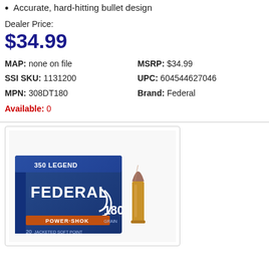Accurate, hard-hitting bullet design
Dealer Price:
$34.99
MAP: none on file   MSRP: $34.99   SSI SKU: 1131200   UPC: 604544627046   MPN: 308DT180   Brand: Federal   Available: 0
[Figure (photo): Federal Power-Shok 350 Legend 180 grain ammunition box with a single bullet shown to the right of the box.]